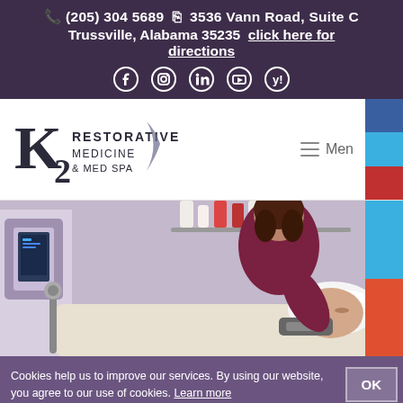☎ (205) 304 5689  ☎ 3536 Vann Road, Suite C Trussville, Alabama 35235 click here for directions
[Figure (logo): K2 Restorative Medicine & Med Spa logo with social media icons (Facebook, Instagram, LinkedIn, YouTube, Yelp) and navigation menu button]
[Figure (photo): Medical spa treatment scene: a practitioner in a burgundy uniform performing a facial treatment on a client lying down, with medical equipment and skincare products visible in the background]
Cookies help us to improve our services. By using our website, you agree to our use of cookies. Learn more